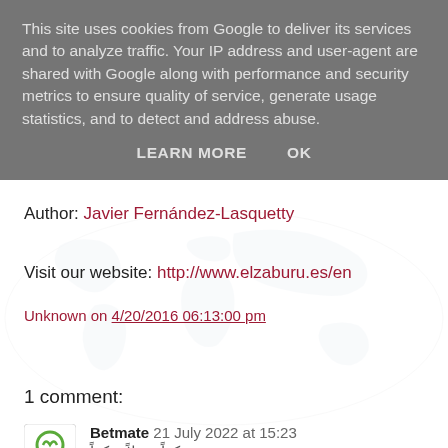This site uses cookies from Google to deliver its services and to analyze traffic. Your IP address and user-agent are shared with Google along with performance and security metrics to ensure quality of service, generate usage statistics, and to detect and address abuse.
LEARN MORE   OK
Author: Javier Fernández-Lasquetty
Visit our website: http://www.elzaburu.es/en
Unknown on 4/20/2016 06:13:00 pm
Share
1 comment:
Betmate 21 July 2022 at 15:23
شكراً جزيلاً شكراً